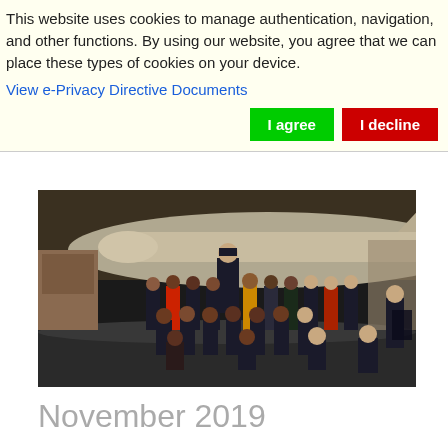This website uses cookies to manage authentication, navigation, and other functions. By using our website, you agree that we can place these types of cookies on your device.
View e-Privacy Directive Documents
I agree
I decline
[Figure (photo): Group photo of school children and an adult in uniform standing in front of a large aircraft inside a museum/hangar. Children are posed in two rows, some sitting on the floor. The setting appears to be an aviation museum.]
November 2019